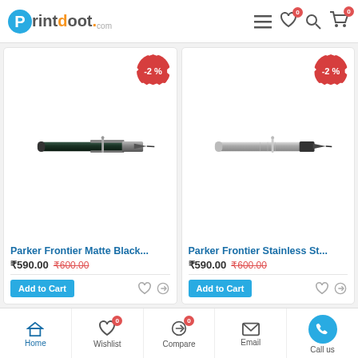Printdoot.com
[Figure (photo): Parker Frontier Matte Black ballpoint pen diagonal photograph on white background with -2% discount badge]
Parker Frontier Matte Black...
₹590.00  ₹600.00
[Figure (photo): Parker Frontier Stainless Steel ballpoint pen diagonal photograph on white background with -2% discount badge]
Parker Frontier Stainless St...
₹590.00  ₹600.00
Home  Wishlist 0  Compare 0  Email  Call us